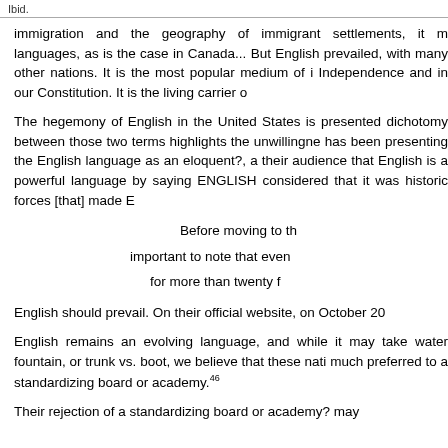Ibid.
immigration and the geography of immigrant settlements, it m languages, as is the case in Canada... But English prevailed, with many other nations. It is the most popular medium of i Independence and in our Constitution. It is the living carrier o
The hegemony of English in the United States is presented dichotomy between those two terms highlights the unwillingne has been presenting the English language as an eloquent?, a their audience that English is a powerful language by saying ENGLISH considered that it was historic forces [that] made E
Before moving to th
important to note that even
for more than twenty f
English should prevail. On their official website, on October 20
English remains an evolving language, and while it may take water fountain, or trunk vs. boot, we believe that these nati much preferred to a standardizing board or academy.46
Their rejection of a standardizing board or academy? may